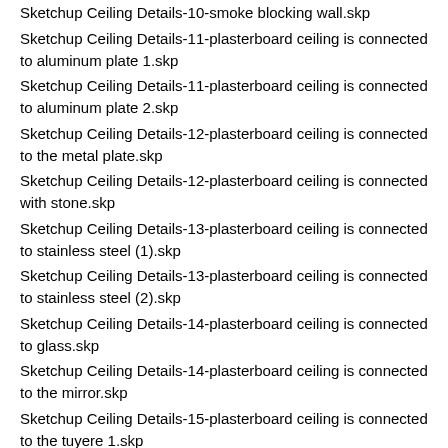Sketchup Ceiling Details-10-smoke blocking wall.skp
Sketchup Ceiling Details-11-plasterboard ceiling is connected to aluminum plate 1.skp
Sketchup Ceiling Details-11-plasterboard ceiling is connected to aluminum plate 2.skp
Sketchup Ceiling Details-12-plasterboard ceiling is connected to the metal plate.skp
Sketchup Ceiling Details-12-plasterboard ceiling is connected with stone.skp
Sketchup Ceiling Details-13-plasterboard ceiling is connected to stainless steel (1).skp
Sketchup Ceiling Details-13-plasterboard ceiling is connected to stainless steel (2).skp
Sketchup Ceiling Details-14-plasterboard ceiling is connected to glass.skp
Sketchup Ceiling Details-14-plasterboard ceiling is connected to the mirror.skp
Sketchup Ceiling Details-15-plasterboard ceiling is connected to the tuyere 1.skp
Sketchup Ceiling Details-15-plasterboard ceiling is connected to the tuyere 2.skp